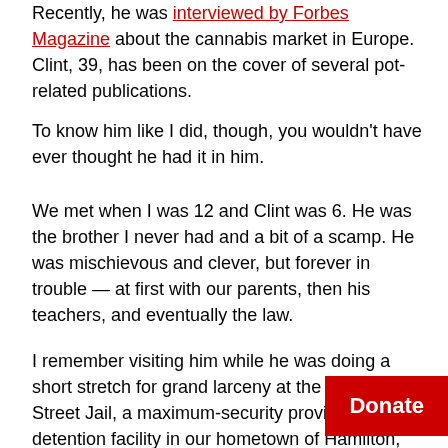Recently, he was interviewed by Forbes Magazine about the cannabis market in Europe. Clint, 39, has been on the cover of several pot-related publications.
To know him like I did, though, you wouldn't have ever thought he had it in him.
We met when I was 12 and Clint was 6. He was the brother I never had and a bit of a scamp. He was mischievous and clever, but forever in trouble — at first with our parents, then his teachers, and eventually the law.
I remember visiting him while he was doing a short stretch for grand larceny at the Barton Street Jail, a maximum-security provincial detention facility in our hometown of Hamilton, Ontario. He was 17 at the time, but behind the glass partition he looked beat down and much older.
"I was stealing cars just to get around," he recalled in a recent phone conversation from his home in British Columbia. "What a dummy I was."